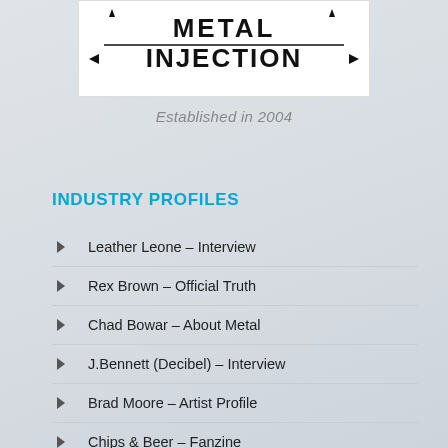[Figure (logo): Metal Injection logo in bold stylized black text with spiky decorative elements]
Established in 2004
INDUSTRY PROFILES
Leather Leone – Interview
Rex Brown – Official Truth
Chad Bowar – About Metal
J.Bennett (Decibel) – Interview
Brad Moore – Artist Profile
Chips & Beer – Fanzine